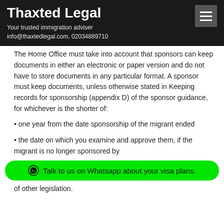Thaxted Legal
Your trusted immigration adviser
info@thaxtedlegal.com, 02034889710
The Home Office must take into account that sponsors can keep documents in either an electronic or paper version and do not have to store documents in any particular format. A sponsor must keep documents, unless otherwise stated in Keeping records for sponsorship (appendix D) of the sponsor guidance, for whichever is the shorter of:
• one year from the date sponsorship of the migrant ended
• the date on which you examine and approve them, if the migrant is no longer sponsored by
Talk to us on Whatsapp about your visa plans.
of other legislation.